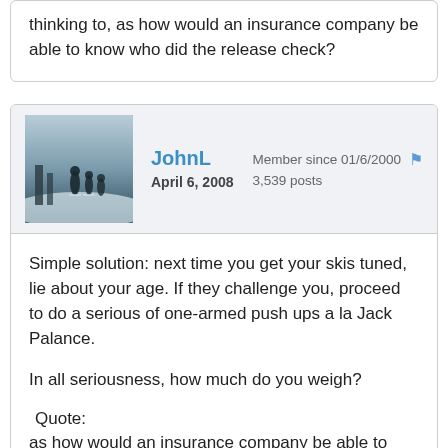thinking to, as how would an insurance company be able to know who did the release check?
JohnL
April 6, 2008
Member since 01/6/2000
3,539 posts
Simple solution: next time you get your skis tuned, lie about your age. If they challenge you, proceed to do a serious of one-armed push ups a la Jack Palance.

In all seriousness, how much do you weigh?

Quote:
as how would an insurance company be able to know who did the release check?